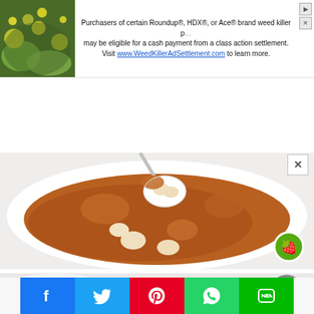[Figure (screenshot): Advertisement banner for Roundup/HDX/Ace weed killer class action settlement. Left side shows green plants/flowers photo. Text reads: Purchasers of certain Roundup®, HDX®, or Ace® brand weed killer products may be eligible for a cash payment from a class action settlement. Visit www.WeedKillerAdSettlement.com to learn more.]
[Figure (photo): Overhead view of a white bowl containing brown broth soup with lotus seeds/nuts, with a white spoon holding the ingredients lifted above the bowl. A green strawberry icon badge is visible in the bottom right corner.]
[Figure (photo): Partial second food photo visible below, showing white dishes on a light gray background. Gray circular up-arrow navigation button visible on right side.]
[Figure (screenshot): Social media sharing bar with five buttons: Facebook (blue, f icon), Twitter (light blue, bird icon), Pinterest (red, P icon), WhatsApp (green, phone icon), LINE (dark green, speech bubble icon).]